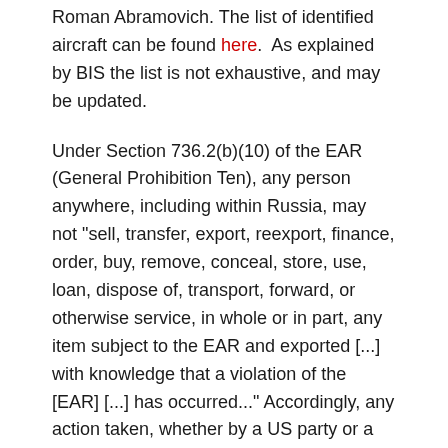Roman Abramovich. The list of identified aircraft can be found here. As explained by BIS the list is not exhaustive, and may be updated.
Under Section 736.2(b)(10) of the EAR (General Prohibition Ten), any person anywhere, including within Russia, may not "sell, transfer, export, reexport, finance, order, buy, remove, conceal, store, use, loan, dispose of, transport, forward, or otherwise service, in whole or in part, any item subject to the EAR and exported [...] with knowledge that a violation of the [EAR] [...] has occurred..." Accordingly, any action taken, whether by a US party or a non-US party, with respect to any subject aircraft, including but not limited to, leasing, financing, refueling, maintenance, repair, or the provision of spare parts or services could violate the EAR.
Importantly, General Prohibition 10 could also apply to the use of